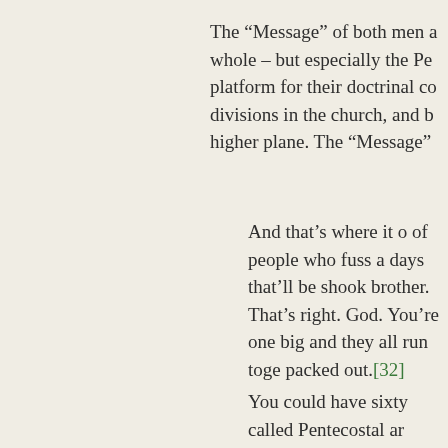The “Message” of both men a whole – but especially the Pe platform for their doctrinal co divisions in the church, and b higher plane. The “Message”
And that’s where it o of people who fuss a days that’ll be shook brother. That’s right. God. You’re one big and they all run toge packed out.[32]
You could have sixty called Pentecostal ar